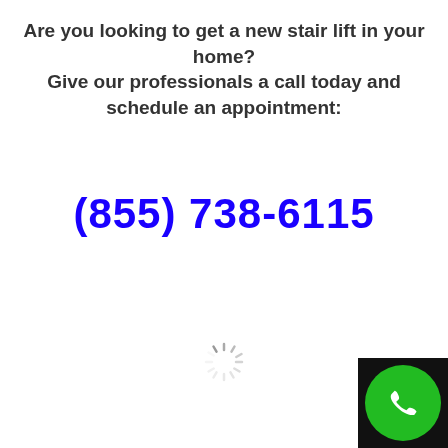Are you looking to get a new stair lift in your home? Give our professionals a call today and schedule an appointment:
(855) 738-6115
[Figure (other): Loading spinner icon (circular dashed lines indicating loading)]
[Figure (other): Green circular phone/call button with white phone handset icon, on a black square background in the bottom-right corner]